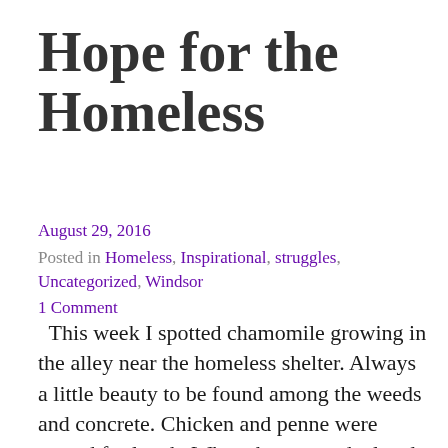Hope for the Homeless
August 29, 2016
Posted in Homeless, Inspirational, struggles, Uncategorized, Windsor
1 Comment
This week I spotted chamomile growing in the alley near the homeless shelter. Always a little beauty to be found among the weeds and concrete. Chicken and penne were served for lunch. When they were depleted, a big stock pot of bean soup became available...